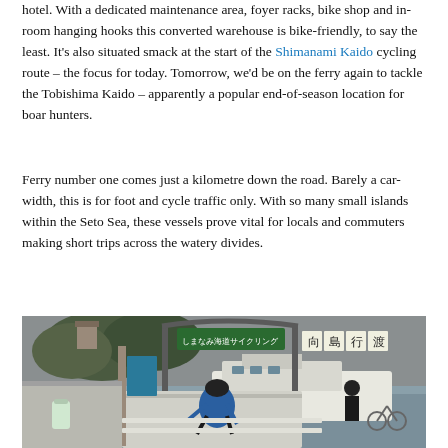hotel. With a dedicated maintenance area, foyer racks, bike shop and in-room hanging hooks this converted warehouse is bike-friendly, to say the least. It's also situated smack at the start of the Shimanami Kaido cycling route – the focus for today. Tomorrow, we'd be on the ferry again to tackle the Tobishima Kaido – apparently a popular end-of-season location for boar hunters.
Ferry number one comes just a kilometre down the road. Barely a car-width, this is for foot and cycle traffic only. With so many small islands within the Seto Sea, these vessels prove vital for locals and commuters making short trips across the watery divides.
[Figure (photo): A cyclist in blue jersey and helmet boarding or approaching a small ferry at a Japanese port, with Japanese signage overhead reading 'Mukaishima-yuki Watashi-bune' (ferry to Mukaishima). Other cyclists and pedestrians visible. Waterway and hillside with buildings in background.]